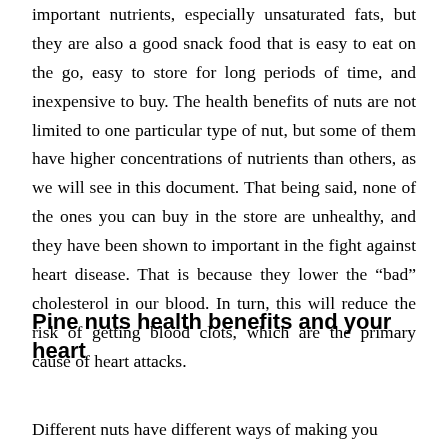important nutrients, especially unsaturated fats, but they are also a good snack food that is easy to eat on the go, easy to store for long periods of time, and inexpensive to buy. The health benefits of nuts are not limited to one particular type of nut, but some of them have higher concentrations of nutrients than others, as we will see in this document. That being said, none of the ones you can buy in the store are unhealthy, and they have been shown to important in the fight against heart disease. That is because they lower the “bad” cholesterol in our blood. In turn, this will reduce the risk of getting blood clots, which are the primary cause of heart attacks.
Pine nuts health benefits and your heart
Different nuts have different ways of making you